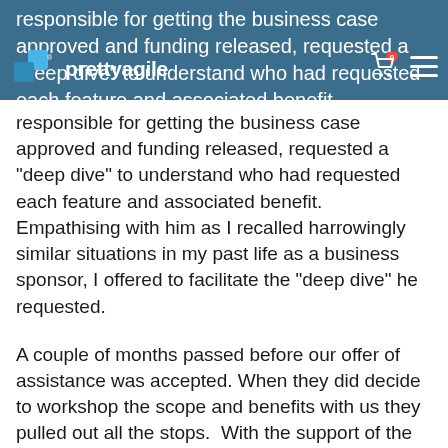responsible for getting the business case approved and funding released, requested a "deep dive" to understand who had requested each feature and associated benefit. Empathising with him as I recalled harrowingly similar situations in my past life as a business sponsor, I offered to facilitate the "deep dive" he requested.
A couple of months passed before our offer of assistance was accepted. When they did decide to workshop the scope and benefits with us they pulled out all the stops.  With the support of the executive sponsor the session was made mandatory for the program's senior stakeholders to attend. It might have taken us 9 months, but we finally had the chance to actually connect